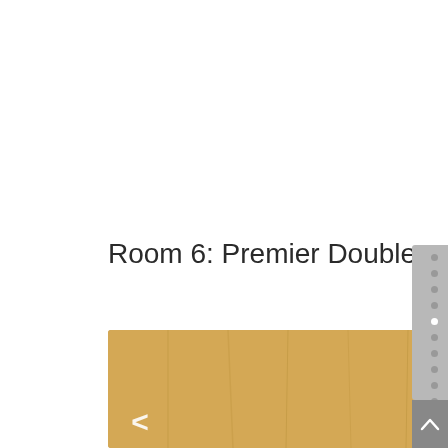Room 6: Premier Double
[Figure (photo): Photo of a wooden door with the number 6 on it, with a glimpse of a room visible to the right side. Navigation arrows (< and >) are visible on the photo.]